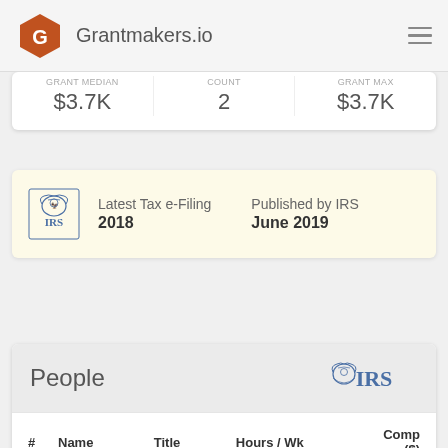Grantmakers.io
| Grant Median | Count | Grant Max |
| --- | --- | --- |
| $3.7K | 2 | $3.7K |
Latest Tax e-Filing: 2018   Published by IRS: June 2019
People
| # | Name | Title | Hours / Wk | Comp ($) |
| --- | --- | --- | --- | --- |